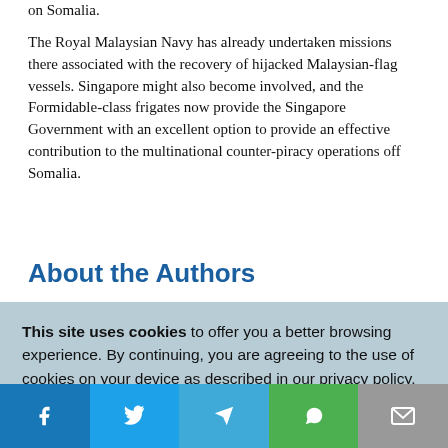on Somalia.
The Royal Malaysian Navy has already undertaken missions there associated with the recovery of hijacked Malaysian-flag vessels. Singapore might also become involved, and the Formidable-class frigates now provide the Singapore Government with an excellent option to provide an effective contribution to the multinational counter-piracy operations off Somalia.
About the Authors
This site uses cookies to offer you a better browsing experience. By continuing, you are agreeing to the use of cookies on your device as described in our privacy policy. Learn more
[Figure (infographic): Social media sharing bar with icons for Facebook, Twitter, Telegram, WhatsApp, and Email]